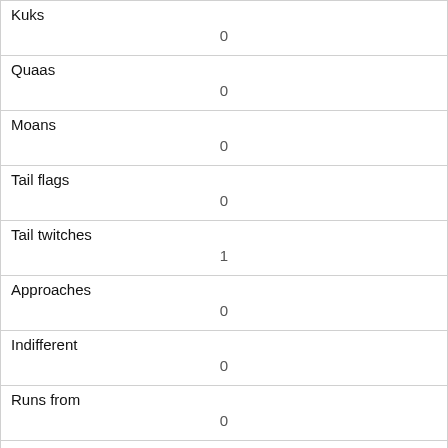| Kuks | 0 |
| Quaas | 0 |
| Moans | 0 |
| Tail flags | 0 |
| Tail twitches | 1 |
| Approaches | 0 |
| Indifferent | 0 |
| Runs from | 0 |
| Other Interactions |  |
| Lat/Long | POINT (-73.9637946878735 40.7915700446878) |